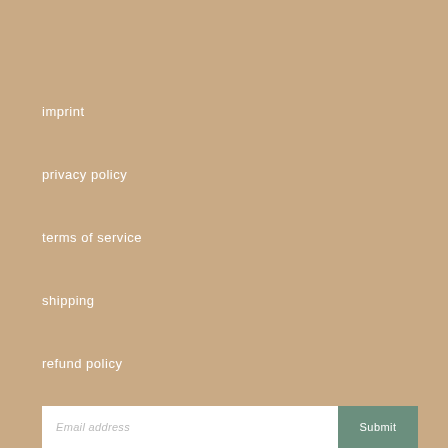imprint
privacy policy
terms of service
shipping
refund policy
newsletter
Email address  Submit